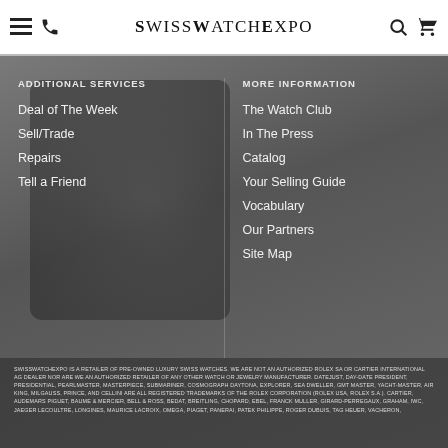SwissWatchExpo navigation header with hamburger menu, phone icon, logo, search icon, cart icon
ADDITIONAL SERVICES
Deal of The Week
Sell/Trade
Repairs
Tell a Friend
MORE INFORMATION
The Watch Club
In The Press
Catalog
Your Selling Guide
Vocabulary
Our Partners
Site Map
SWISSWATCHEXPO IS A RETAILER OF PRE-OWNED LUXURY SWISS WATCHES. WE ARE NOT AN AUTHORIZED ROLEX SA OR CARTIER INTERNATIONAL AG DEALER NOR ARE WE AN AUTHORIZED RETAILER OF ANY OTHER WATCH OR JEWELRY MANUFACTURER. DATEJUST, DAY-DATE PRESIDENT, PRESIDENTIAL, PEARLMASTER, MASTERPIECE, SUBMARINER, COSMOGRAPH DAYTONA, EXPLORER, SEA DWELLER, GMT MASTER, YACHT-MASTER, AIR KING, MILGAUSS, PRINCE, AND CELLINI ARE ALL REGISTERED TRADEMARKS OF THE ROLEX CORPORATION (ROLEX USA, ROLEX S.A.). CARTIER, AUDEMARS PIGUET, BAUME & MERCIER, BELL & ROSS, BEDAT, BREITLING, CHOPARD, EBEL, FRANCK MULLER, GIRARD-PERREGAUX, GRAHAM, IWC, JAEGER LECOULTRE, LONGINES, MAURICE LACROIX, OMEGA, PIAGET, PANERAI, PATEK PHILIPPE, ROGER DUBUIS, TAG HEUER, VACHERON,